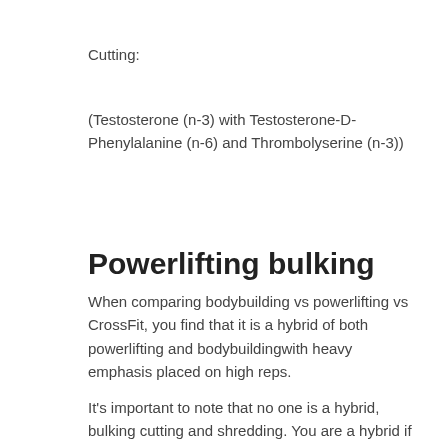Cutting:
(Testosterone (n-3) with Testosterone-D-Phenylalanine (n-6) and Thrombolyserine (n-3))
Powerlifting bulking
When comparing bodybuilding vs powerlifting vs CrossFit, you find that it is a hybrid of both powerlifting and bodybuildingwith heavy emphasis placed on high reps.
It's important to note that no one is a hybrid, bulking cutting and shredding. You are a hybrid if you have some degree of both